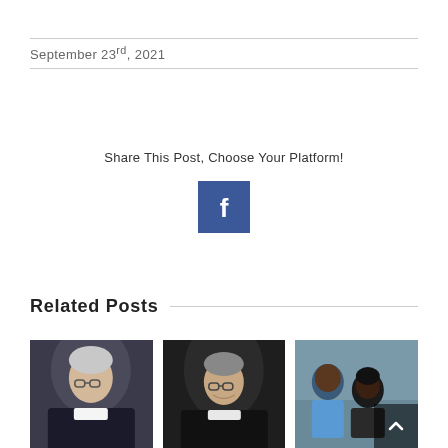September 23rd, 2021
Share This Post, Choose Your Platform!
[Figure (logo): Facebook share button - blue square with white 'f' logo]
Related Posts
[Figure (photo): Portrait photo of an elderly woman in dark religious habit with white collar]
[Figure (photo): Portrait photo of an elderly woman in dark religious habit with white collar, smiling]
[Figure (photo): Photo of young African children, one child appears to be leaning over another]